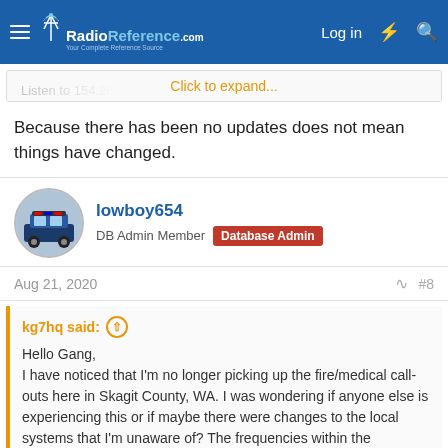RadioReference.com — Your Complete Reference Source | Log in
Listen to 154.265 (without a PL) and see if you hear digital hash
Click to expand...
Because there has been no updates does not mean things have changed.
lowboy654
DB Admin Member  Database Admin
Aug 21, 2020  #8
kg7hq said: ↑
Hello Gang,
I have noticed that I'm no longer picking up the fire/medical call-outs here in Skagit County, WA. I was wondering if anyone else is experiencing this or if maybe there were changes to the local systems that I'm unaware of? The frequencies within the database are what i'm using currently.